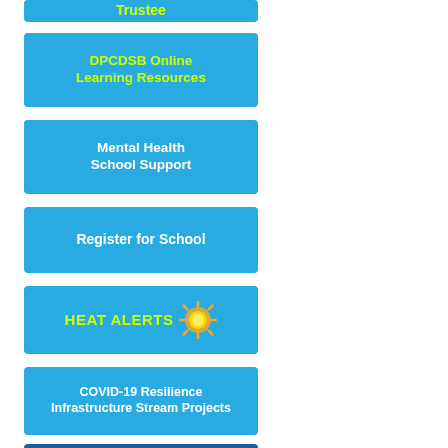[Figure (screenshot): Blue button/banner partially visible at top: Trustee]
[Figure (screenshot): Blue button/banner: DPCDSB Online Learning Resources (yellow text)]
[Figure (screenshot): Blue button/banner: Mental Health School Support (white text)]
[Figure (screenshot): Blue button/banner: Register for School (white text)]
[Figure (screenshot): Blue button/banner: HEAT ALERTS with sun icon (yellow text)]
[Figure (screenshot): Blue button/banner: COVID-19 Resilience Infrastructure Stream Projects (white text)]
[Figure (screenshot): Dark blue button/banner partially visible at bottom]